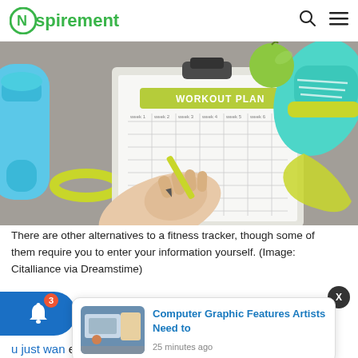Nspirement
[Figure (photo): Overhead view of a workout plan clipboard on a gray surface, with a hand writing on it, a blue water bottle, turquoise sneakers, yellow-green resistance bands, and an apple visible around it.]
There are other alternatives to a fitness tracker, though some of them require you to enter your information yourself. (Image: Citalliance via Dreamstime)
[Figure (photo): Thumbnail image of a computer graphic / digital art scene for notification card]
Computer Graphic Features Artists Need to
25 minutes ago
u just wan each day, get a pedometer. They are much more